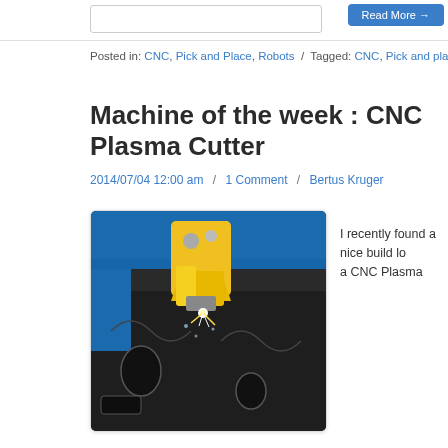Posted in: CNC, Pick and Place, Robots / Tagged: CNC, Pick and place, Robot of th...
Machine of the week : CNC Plasma Cutter
2014/07/04 12:00 am / 1 Comment / Bertus Kruger
[Figure (photo): CNC Plasma Cutter machine in operation, showing yellow cutting head on blue rail cutting decorative metal sheet with sparks visible]
I recently found a nice build lo... a CNC Plasma